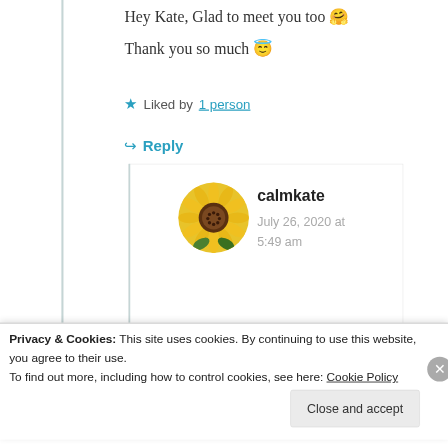Hey Kate, Glad to meet you too 🤗
Thank you so much 😇
★ Liked by 1 person
↪ Reply
[Figure (photo): Round avatar photo of a sunflower]
calmkate
July 26, 2020 at
5:49 am
Privacy & Cookies: This site uses cookies. By continuing to use this website, you agree to their use.
To find out more, including how to control cookies, see here: Cookie Policy
Close and accept